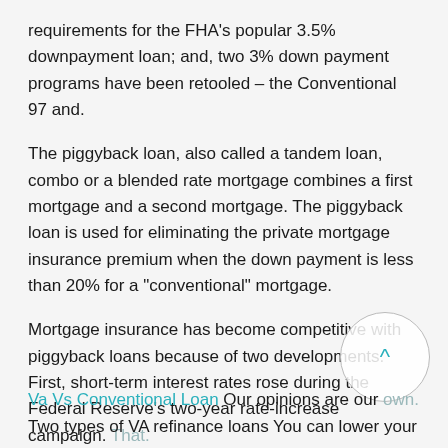requirements for the FHA's popular 3.5% downpayment loan; and, two 3% down payment programs have been retooled – the Conventional 97 and.
The piggyback loan, also called a tandem loan, combo or a blended rate mortgage combines a first mortgage and a second mortgage. The piggyback loan is used for eliminating the private mortgage insurance premium when the down payment is less than 20% for a "conventional" mortgage.
Mortgage insurance has become competitive with piggyback loans because of two developments. First, short-term interest rates rose during the Federal Reserve's two-year rate-increase campaign. That.
Va Vs Conventional Loan Our opinions are our own. Two types of VA refinance loans You can lower your